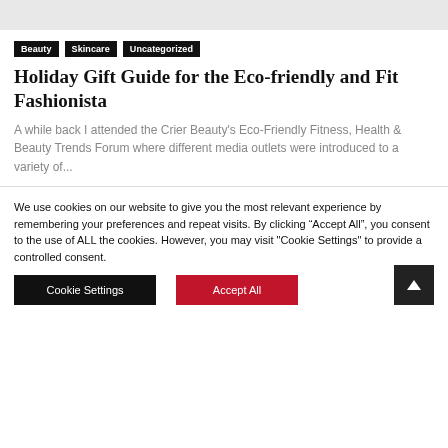Beauty
Skincare
Uncategorized
Holiday Gift Guide for the Eco-friendly and Fit Fashionista
A while back I attended the Crier Beauty's Eco-Friendly Fitness, Health & Beauty Trends Forum where different media outlets were introduced to a variety of...
We use cookies on our website to give you the most relevant experience by remembering your preferences and repeat visits. By clicking “Accept All”, you consent to the use of ALL the cookies. However, you may visit "Cookie Settings" to provide a controlled consent.